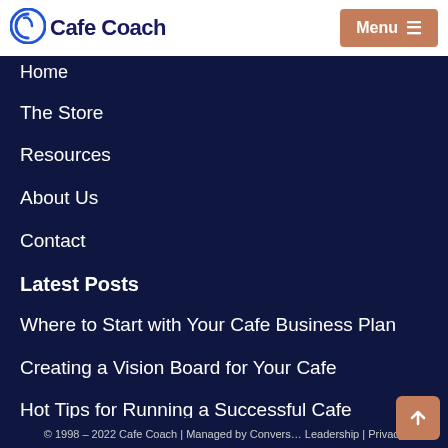Cafe Coach | Menu
Home
The Store
Resources
About Us
Contact
Latest Posts
Where to Start with Your Cafe Business Plan
Creating a Vision Board for Your Cafe
Hot Tips for Running a Successful Cafe Business
What's Different or Unique about Your Cafe Business?
© 1998 – 2022 Cafe Coach | Managed by Convers… Leadership | Privacy